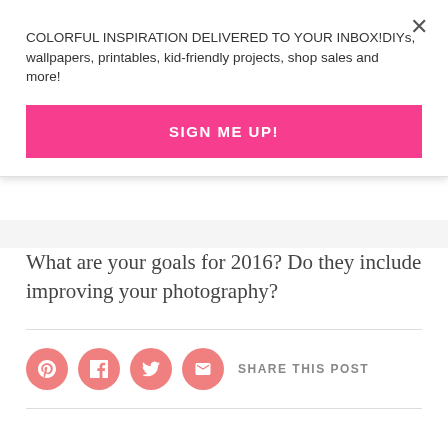COLORFUL INSPIRATION DELIVERED TO YOUR INBOX!DIYs, wallpapers, printables, kid-friendly projects, shop sales and more!
SIGN ME UP!
What are your goals for 2016? Do they include improving your photography?
SHARE THIS POST